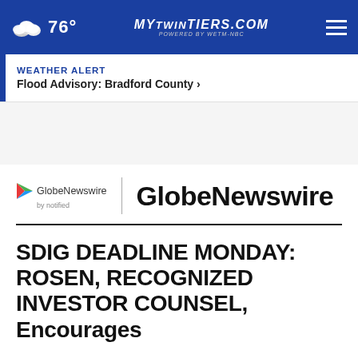76° | mytwintiers.com
WEATHER ALERT
Flood Advisory: Bradford County >
[Figure (logo): GlobeNewswire by notified logo with play arrow icon, followed by vertical divider and large 'GlobeNewswire' text]
SDIG DEADLINE MONDAY: ROSEN, RECOGNIZED INVESTOR COUNSEL, Encourages